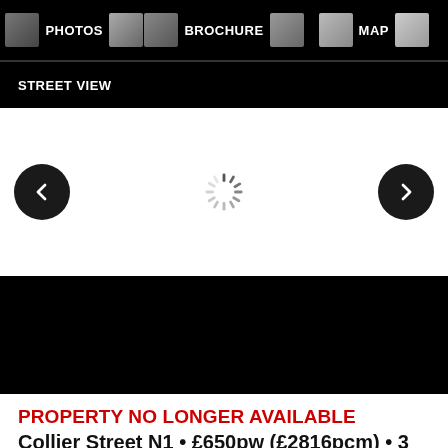PHOTOS  BROCHURE  MAP  STREET VIEW
[Figure (screenshot): Navigation carousel with left arrow, loading spinner, and right arrow for street view image]
[Figure (photo): Black band / loading area for property photo]
PROPERTY NO LONGER AVAILABLE
Collier Street N1 • £650pw (£2816pcm) • 3 Bedroom Flat
3 Bedroom Flat